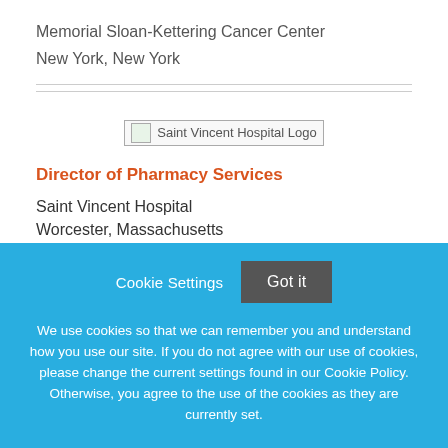Memorial Sloan-Kettering Cancer Center
New York, New York
[Figure (logo): Saint Vincent Hospital Logo placeholder image]
Director of Pharmacy Services
Saint Vincent Hospital
Worcester, Massachusetts
Cookie Settings  Got it
We use cookies so that we can remember you and understand how you use our site. If you do not agree with our use of cookies, please change the current settings found in our Cookie Policy. Otherwise, you agree to the use of the cookies as they are currently set.